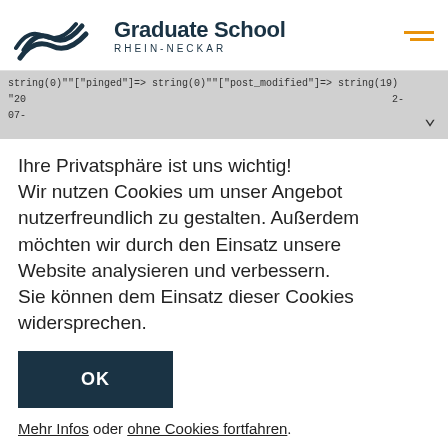Graduate School RHEIN-NECKAR
string(0)""["pinged"]=> string(0)""["post_modified"]=> string(19) "20 2- 07-
Ihre Privatsphäre ist uns wichtig! Wir nutzen Cookies um unser Angebot nutzerfreundlich zu gestalten. Außerdem möchten wir durch den Einsatz unsere Website analysieren und verbessern. Sie können dem Einsatz dieser Cookies widersprechen.
OK
Mehr Infos oder ohne Cookies fortfahren.